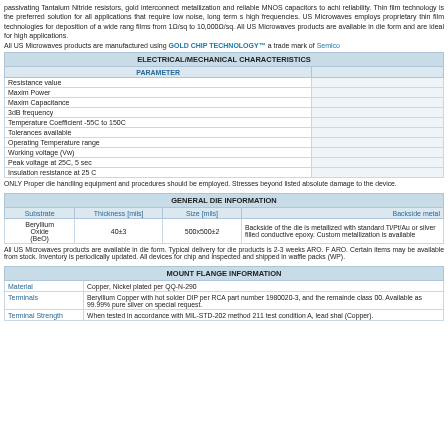passivating Tantalum Nitride resistors, gold interconnect metallization and reliable MNOS capacitors to achieve reliability. Thin film technology is the preferred solution for all applications that require low noise, long term stability and high frequencies. US Microwaves employs proprietary thin film technologies for deposition of a wide range of thin films from 1Ω/sq to 10,000Ω/sq. All US Microwaves products are available in die form and are ideal for high frequency applications.
All US Microwaves products are manufactured using GOLD CHIP TECHNOLOGY™ a trade mark of Semico...
| ELECTRICAL/MECHANICAL CHARACTERISTICS |  |
| --- | --- |
| PARAMETER |  |
| Resistance value |  |
| Maxim Power |  |
| Maxim Capacitance |  |
| 3dB frequency |  |
| Temperature Coefficient -55C to 150C |  |
| Tolerances available |  |
| Operating Temperature range |  |
| Working voltage (Vw) |  |
| Peak voltage at 25C, 5 sec |  |
| Insulation resistance at 25 C |  |
ONLY Proper die handling equipment and procedures should be employed. Stresses beyond listed absolute maximum ratings may cause permanent damage to the device.
| GENERAL DIE INFORMATION |  |  |  |
| --- | --- | --- | --- |
| Substrate | Thickness [mils] | Size [mils] | Backside metal |
| Beryllium Oxide (BeO) | 40±3 | 500x500±2 | Backside of the die is metallized with standard Ti/Pt/Au or silver filled conductive epoxy. Custom metallization is available |
All US Microwaves products are available in die form. Typical delivery for die products is 2-3 weeks ARO. F ARO. Certain items may be available from stock. Inventory is periodically updated. All devices for chip and wire are inspected and shipped in waffle packs (WP).
| MOUNT FLANGE INFORMATION |  |
| --- | --- |
| Material | Copper, Nickel plated per QQ-N-290 |
| Terminals | Beryllium Copper with hot solder DIP per RCA part number 1980020-3, and the remainder class 00. Available as 99.99% pure silver on special request. |
| Terminal Strength | When tested in accordance with MIL-STD-202 method 211 test condition A, lead shall (Copper). |